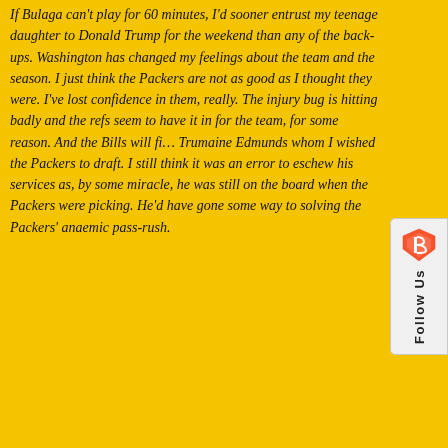If Bulaga can't play for 60 minutes, I'd sooner entrust my teenage daughter to Donald Trump for the weekend than any of the back-ups. Washington has changed my feelings about the team and the season. I just think the Packers are not as good as I thought they were. I've lost confidence in them, really. The injury bug is hitting badly and the refs seem to have it in for the team, for some reason. And the Bills will fi... Trumaine Edmunds whom I wished the Packers to draft. I still think it was an error to eschew his services as, by some miracle, he was still on the board when the Packers were picking. He'd have gone some way to solving the Packers' anaemic pass-rush.
[Figure (other): Follow Us widget with Brave browser logo and vertical 'Follow Us' text]
Old School
10/13/2018
The anemic pass rush is 6th in the league. Pass defense starts with people who can cover and we went out and got some. Opposing QB passer rating is in the top ten, too.